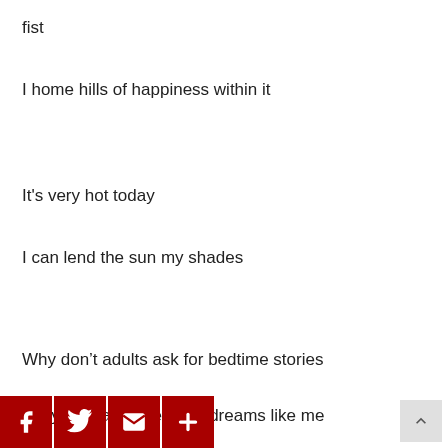fist
I home hills of happiness within it
It's very hot today
I can lend the sun my shades
Why don't adults ask for bedtime stories
They too can have good dreams like me